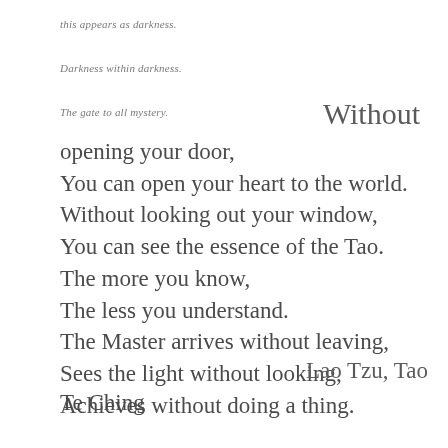this appears as darkness.
Darkness within darkness.
The gate to all mystery.
Without opening your door,
You can open your heart to the world.
Without looking out your window,
You can see the essence of the Tao.
The more you know,
The less you understand.
The Master arrives without leaving,
Sees the light without looking,
Achieves without doing a thing.
Lao Tzu, Tao Te Ching
20. Paradoxes are everywhere
Thus it is said:
The path into the light seems dark,